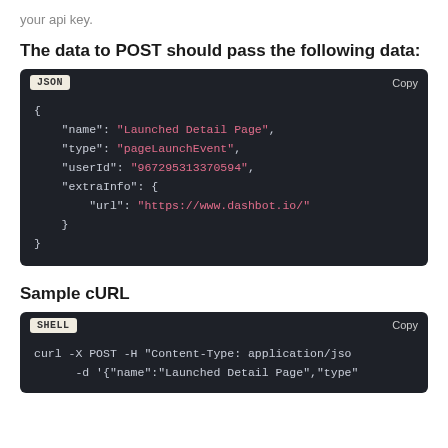your api key.
The data to POST should pass the following data:
[Figure (screenshot): JSON code block with dark background showing a JSON object with name, type, userId, and extraInfo fields]
Sample cURL
[Figure (screenshot): SHELL code block with dark background showing curl command with POST and Content-Type header]